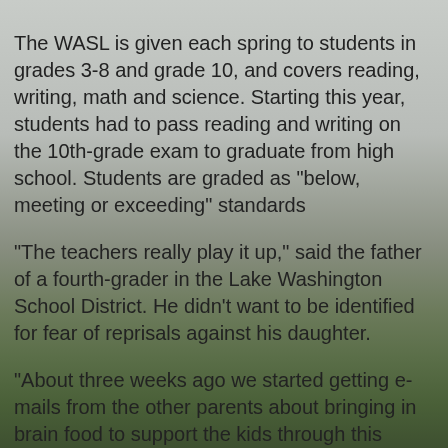The WASL is given each spring to students in grades 3-8 and grade 10, and covers reading, writing, math and science. Starting this year, students had to pass reading and writing on the 10th-grade exam to graduate from high school. Students are graded as "below, meeting or exceeding" standards
"The teachers really play it up," said the father of a fourth-grader in the Lake Washington School District. He didn't want to be identified for fear of reprisals against his daughter.
"About three weeks ago we started getting e-mails from the other parents about bringing in brain food to support the kids through this tough period," he told ABCNEWS.com. "I thought it was pathetic to put 9-year-olds into that kind of test environment."
Test 'Serves No Purpose'
His district in Redmond serves highly competitive parents, many of whom work for Microsoft, which is headquartered